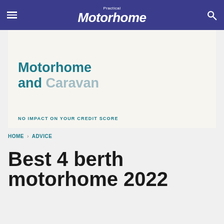Practical Motorhome
[Figure (infographic): Advertisement banner for Motorhome and Caravan finance with text 'NO IMPACT ON YOUR CREDIT SCORE']
HOME > ADVICE
Best 4 berth motorhome 2022